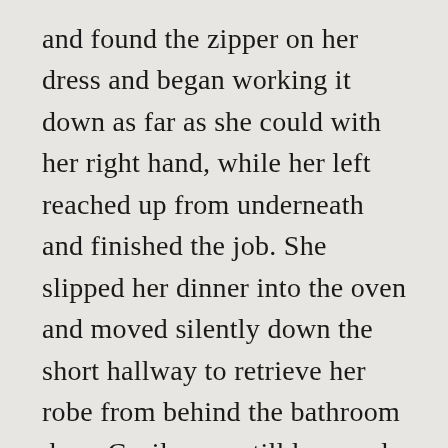and found the zipper on her dress and began working it down as far as she could with her right hand, while her left reached up from underneath and finished the job. She slipped her dinner into the oven and moved silently down the short hallway to retrieve her robe from behind the bathroom door. Cecily was still lean and muscular despite feeling occasionally frail, but her intellect